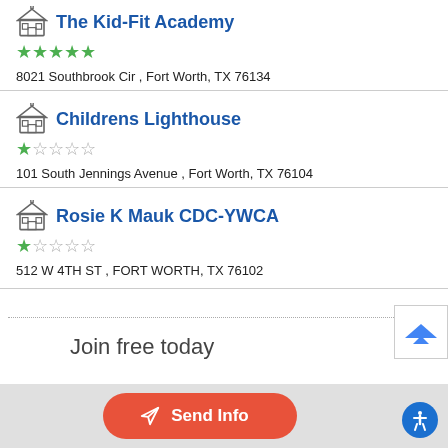The Kid-Fit Academy
★★★★★
8021 Southbrook Cir , Fort Worth, TX 76134
Childrens Lighthouse
★☆☆☆☆
101 South Jennings Avenue , Fort Worth, TX 76104
Rosie K Mauk CDC-YWCA
★☆☆☆☆
512 W 4TH ST , FORT WORTH, TX 76102
Join free today
Send Info